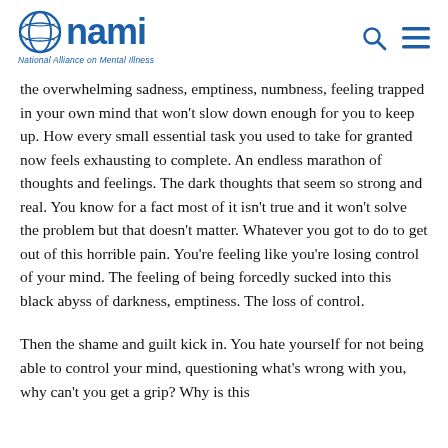NAMI - National Alliance on Mental Illness
the overwhelming sadness, emptiness, numbness, feeling trapped in your own mind that won't slow down enough for you to keep up. How every small essential task you used to take for granted now feels exhausting to complete. An endless marathon of thoughts and feelings. The dark thoughts that seem so strong and real. You know for a fact most of it isn't true and it won't solve the problem but that doesn't matter. Whatever you got to do to get out of this horrible pain. You're feeling like you're losing control of your mind. The feeling of being forcedly sucked into this black abyss of darkness, emptiness. The loss of control.
Then the shame and guilt kick in. You hate yourself for not being able to control your mind, questioning what's wrong with you, why can't you get a grip? Why is this